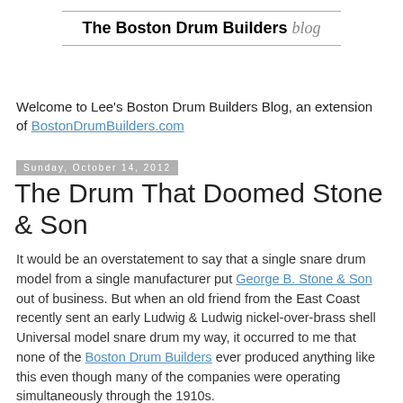The Boston Drum Builders blog
Welcome to Lee's Boston Drum Builders Blog, an extension of BostonDrumBuilders.com
Sunday, October 14, 2012
The Drum That Doomed Stone & Son
It would be an overstatement to say that a single snare drum model from a single manufacturer put George B. Stone & Son out of business. But when an old friend from the East Coast recently sent an early Ludwig & Ludwig nickel-over-brass shell Universal model snare drum my way, it occurred to me that none of the Boston Drum Builders ever produced anything like this even though many of the companies were operating simultaneously through the 1910s.